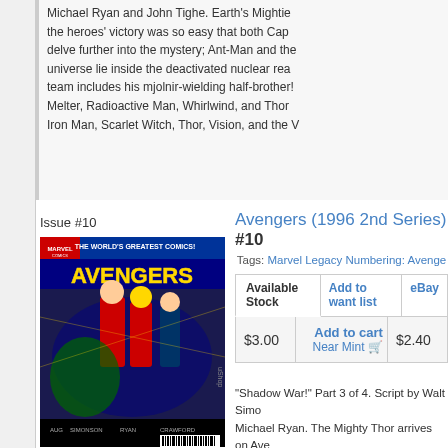Michael Ryan and John Tighe. Earth's Mighties... the heroes' victory was so easy that both Cap... delve further into the mystery; Ant-Man and the... universe lie inside the deactivated nuclear rea... team includes his mjolnir-wielding half-brother!... Melter, Radioactive Man, Whirlwind, and Thor ... Iron Man, Scarlet Witch, Thor, Vision, and the W...
Issue #10
[Figure (photo): Cover of Avengers (1996 2nd Series) #10 comic book showing Marvel heroes in action]
Avengers (1996 2nd Series) #10
Tags: Marvel Legacy Numbering: Avenge...
| Price | Action | Alt Price |
| --- | --- | --- |
| $3.00 | Add to cart / Near Mint 🛒 | $2.40 |
"Shadow War!" Part 3 of 4. Script by Walt Simo... Michael Ryan. The Mighty Thor arrives on Ave... Auspiciously, his long-time teammates let him i... headquarters! After consulting with Reed Richa... genuine articles, while others have been manu... which? When the Avengers return to their man... the Wasp, Ant-Man, Captain America, Iron Mo...